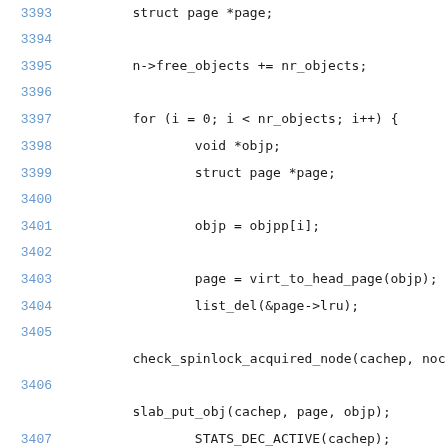Code listing lines 3393-3414 showing C kernel slab allocator function
3393: struct page *page;
3394: (blank)
3395: n->free_objects += nr_objects;
3396: (blank)
3397: for (i = 0; i < nr_objects; i++) {
3398: void *objp;
3399: struct page *page;
3400: (blank)
3401: objp = objpp[i];
3402: (blank)
3403: page = virt_to_head_page(objp);
3404: list_del(&page->lru);
3405: (blank)
check_spinlock_acquired_node(cachep, noc
3406: (blank)
slab_put_obj(cachep, page, objp);
3407: STATS_DEC_ACTIVE(cachep);
3408: (blank)
3409: /* fixup slab chains */
3410: if (page->active == 0) {
3411: list_add(&page->lru, &n->slabs_free);
3412: n->free_slabs++;
3413: } else {
3414: (blank)